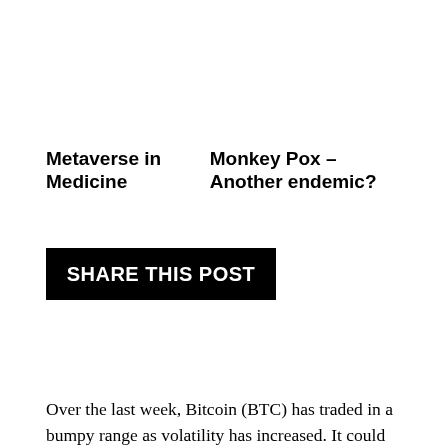Metaverse in Medicine
Monkey Pox – Another endemic?
SHARE THIS POST
Over the last week, Bitcoin (BTC) has traded in a bumpy range as volatility has increased. It could